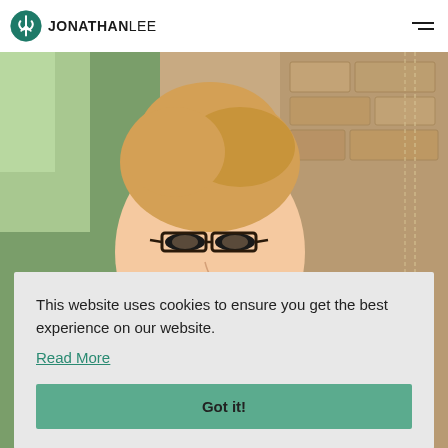JONATHAN LEE
[Figure (photo): Photo of a smiling woman with glasses and blonde hair pulled back, standing in front of a stone wall background]
This website uses cookies to ensure you get the best experience on our website.
Read More
Got it!